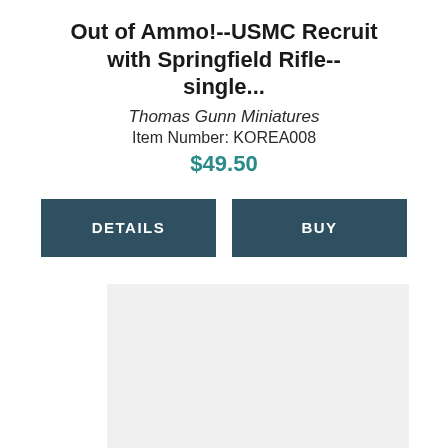Out of Ammo!--USMC Recruit with Springfield Rifle--single...
Thomas Gunn Miniatures
Item Number: KOREA008
$49.50
DETAILS
BUY
[Figure (photo): Light gray placeholder image rectangle]